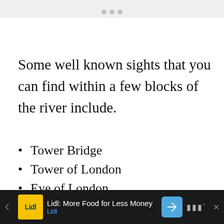• • •
Some well known sights that you can find within a few blocks of the river include.
Tower Bridge
Tower of London
Eye of London
Big Ben
Battersea Power Station
Lidl: More Food for Less Money — Lidl